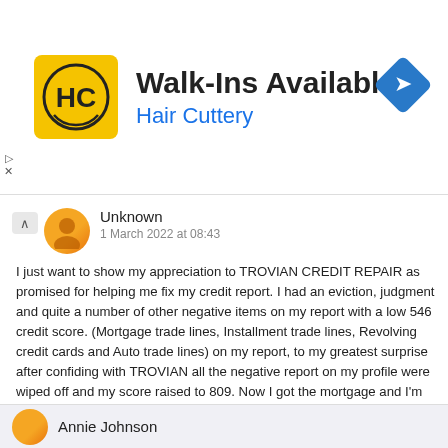[Figure (logo): Hair Cuttery advertisement banner with HC logo, text 'Walk-Ins Available' and 'Hair Cuttery', and a navigation diamond icon]
Unknown
1 March 2022 at 08:43
I just want to show my appreciation to TROVIAN CREDIT REPAIR as promised for helping me fix my credit report. I had an eviction, judgment and quite a number of other negative items on my report with a low 546 credit score. (Mortgage trade lines, Installment trade lines, Revolving credit cards and Auto trade lines) on my report, to my greatest surprise after confiding with TROVIAN all the negative report on my profile were wiped off and my score raised to 809. Now I got the mortgage and I'm very happy. You can contact them on EMAIL: TROVIANCREDITREPAIR@GMAIL.COM cell: +1 (424) 307 4562 for similar problems.
Reply   Delete
Annie Johnson